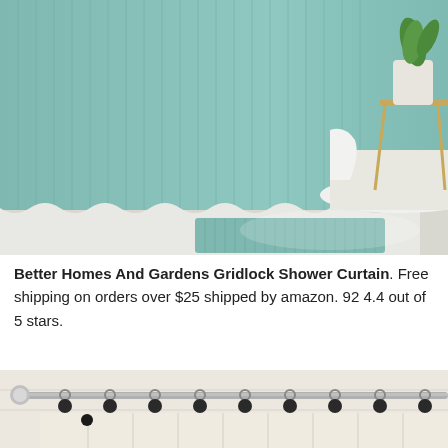[Figure (photo): Photo of a teal/seafoam green ribbed shower curtain hanging in a bathroom with a white bathtub, teal bath mat on the floor, white towel draped over the tub edge, and a gold side table with a potted plant in the background. Gray wall visible.]
Better Homes And Gardens Gridlock Shower Curtain. Free shipping on orders over $25 shipped by amazon. 92 4.4 out of 5 stars.
[Figure (photo): Partial photo of a curtain rod with black pom-pom embellishments hanging from ring clips, with a cream/ivory curtain panel visible below. Chrome curtain rod end visible on the left.]